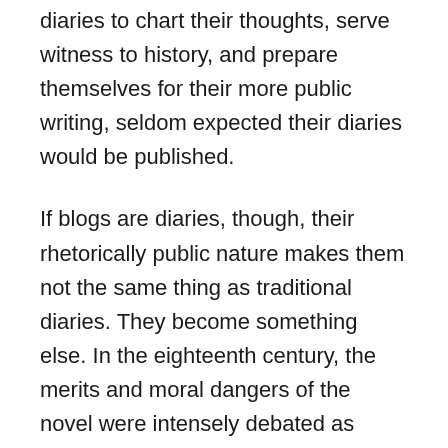diaries to chart their thoughts, serve witness to history, and prepare themselves for their more public writing, seldom expected their diaries would be published.
If blogs are diaries, though, their rhetorically public nature makes them not the same thing as traditional diaries. They become something else. In the eighteenth century, the merits and moral dangers of the novel were intensely debated as writers and culture warriors tried to figure out what the new prose form was doing. Thankfully, we have at least picked up the pace, although we are STILL somehow arguing about the purpose of the novel is.
Are blogs a more literary form of social